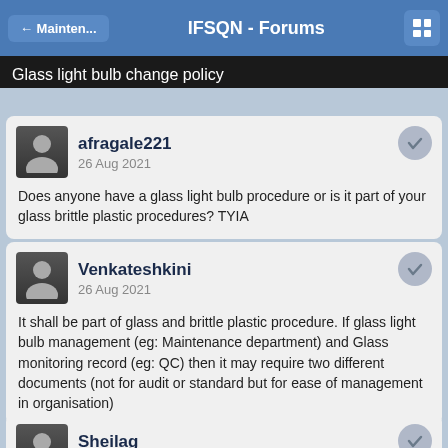← Mainten...   IFSQN - Forums
Glass light bulb change policy
afragale221
26 Aug 2021
Does anyone have a glass light bulb procedure or is it part of your glass brittle plastic procedures? TYIA
Venkateshkini
26 Aug 2021
It shall be part of glass and brittle plastic procedure. If glass light bulb management (eg: Maintenance department) and Glass monitoring record (eg: QC) then it may require two different documents (not for audit or standard but for ease of management in organisation)
Sheilag
26 Aug 2021